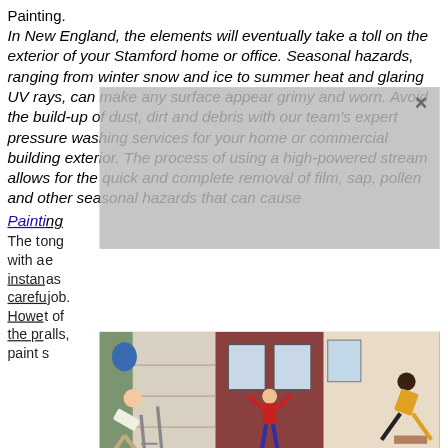Painting.
In New England, the elements will eventually take a toll on the exterior of your Stamford home or office. Seasonal hazards, ranging from winter snow and ice to summer heat and glaring UV rays, can make any surface appear grimy and worn. Avoid the build-up of dust, dirt and debris with our team's expert pressure washing services for your home or commercial building exterior. The process of using a high-powered stream allows for the quick and complete removal of film, sap, pollen and other seasonal hazards that can cause
[Figure (photo): Three photos of people doing acrobatic/dangerous falls off ladders near houses, shown as a horizontal photo strip overlaying the text]
Prepping a house costs anywhere from $0.50 to $2.50 per square foot. This is almost always included in the total project price. However, the DIYer might negotiate some discounts for completing this work on their own. Be warned,